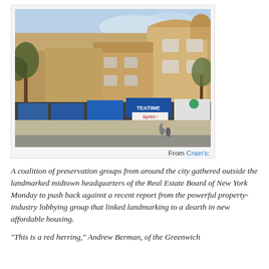[Figure (photo): Street-level photo of a row of historic brick commercial/residential buildings (likely in Brooklyn), with shops including Teatime and Sprint at ground level, trees visible, and pedestrians on the sidewalk.]
From Crain's:
A coalition of preservation groups from around the city gathered outside the landmarked midtown headquarters of the Real Estate Board of New York Monday to push back against a recent report from the powerful property-industry lobbying group that linked landmarking to a dearth in new affordable housing.
"This is a red herring," Andrew Berman, of the Greenwich